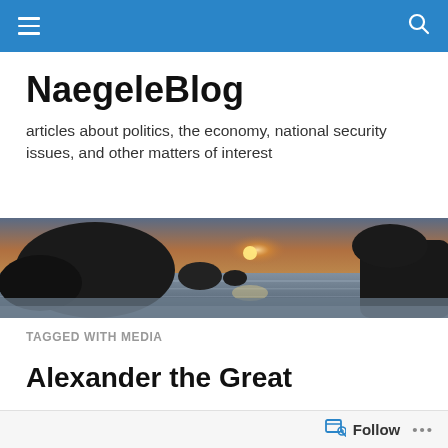NaegeleBlog navigation bar with hamburger menu and search icon
NaegeleBlog
articles about politics, the economy, national security issues, and other matters of interest
[Figure (photo): Wide panoramic beach photo at sunset showing large rock formations in silhouette against a warm glowing sky, with wet sand and calm ocean water in the foreground]
TAGGED WITH MEDIA
Alexander the Great
[Figure (photo): Partial thumbnail of article image showing a dark brown/tan toned photo, partially visible]
Follow ...